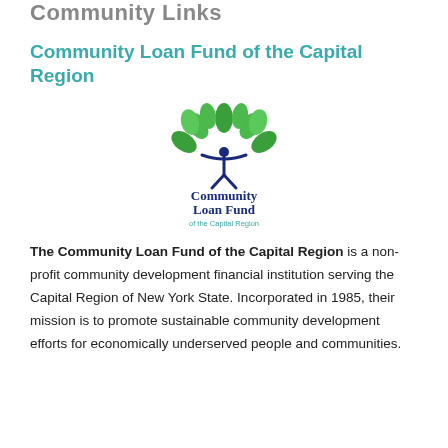Community Links
Community Loan Fund of the Capital Region
[Figure (logo): Community Loan Fund of the Capital Region logo: a stylized human figure with green leaf branches above, and the text 'Community Loan Fund of the Capital Region' in dark blue and green below.]
The Community Loan Fund of the Capital Region is a non-profit community development financial institution serving the Capital Region of New York State. Incorporated in 1985, their mission is to promote sustainable community development efforts for economically underserved people and communities.